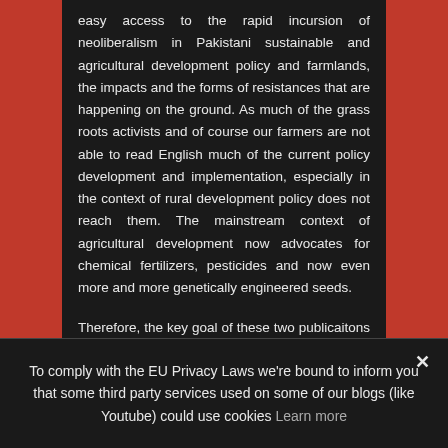easy access to the rapid incursion of neoliberalism in Pakistani sustainable and agricultural development policy and farmlands, the impacts and the forms of resistances that are happening on the ground. As much of the grass roots activists and of course our farmers are not able to read English much of the current policy development and implementation, especially in the context of rural development policy does not reach them. The mainstream context of agricultural development now advocates for chemical fertilizers, pesticides and now even more and more genetically engineered seeds.
Therefore, the key goal of these two publicaitons is to provide current information and a critical analysis of the development paradigm embedded in neoliberalism.
To comply with the EU Privacy Laws we're bound to inform you that some third party services used on some of our blogs (like Youtube) could use cookies Learn more